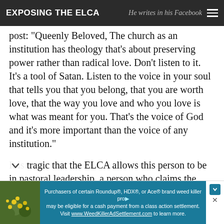EXPOSING THE ELCA — He writes in his Facebook
post: "Queenly Beloved, The church as an institution has theology that's about preserving power rather than radical love. Don't listen to it. It's a tool of Satan. Listen to the voice in your soul that tells you that you belong, that you are worth love, that the way you love and who you love is what was meant for you. That's the voice of God and it's more important than the voice of any institution."
It is tragic that the ELCA allows this person to be in pastoral leadership, a person who claims the "voice within" is what we should follow. No,
[Figure (infographic): Advertisement banner: photo of yellow flowers on left, blue background with text about Roundup/HDX/Ace weed killer class action settlement, visit WeedKillerAdSettlement.com]